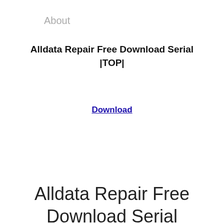About
Alldata Repair Free Download Serial |TOP|
Download
Alldata Repair Free Download Serial